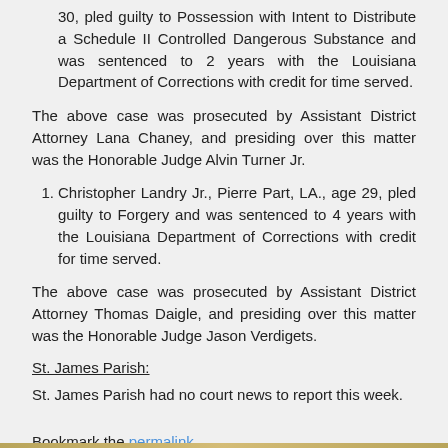30, pled guilty to Possession with Intent to Distribute a Schedule II Controlled Dangerous Substance and was sentenced to 2 years with the Louisiana Department of Corrections with credit for time served.
The above case was prosecuted by Assistant District Attorney Lana Chaney, and presiding over this matter was the Honorable Judge Alvin Turner Jr.
Christopher Landry Jr., Pierre Part, LA., age 29, pled guilty to Forgery and was sentenced to 4 years with the Louisiana Department of Corrections with credit for time served.
The above case was prosecuted by Assistant District Attorney Thomas Daigle, and presiding over this matter was the Honorable Judge Jason Verdigets.
St. James Parish:
St. James Parish had no court news to report this week.
Bookmark the permalink.